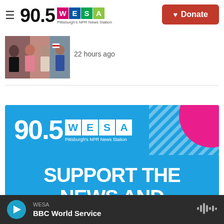90.5 WESA Pittsburgh's NPR News Station | Donate
[Figure (photo): Thumbnail image of people at an outdoor event]
22 hours ago
[Figure (illustration): 90.5 WESA Pittsburgh's NPR News Station advertisement banner with text SUPPORT THE NEWS AND]
WESA | BBC World Service (player bar)